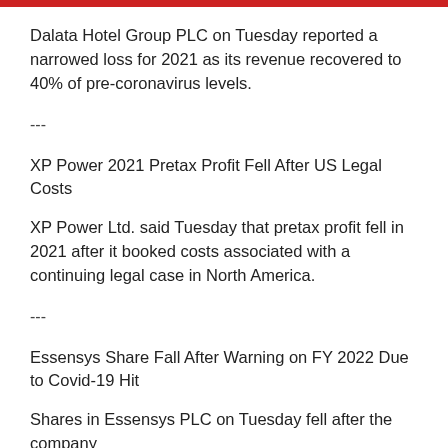Dalata Hotel Group PLC on Tuesday reported a narrowed loss for 2021 as its revenue recovered to 40% of pre-coronavirus levels.
---
XP Power 2021 Pretax Profit Fell After US Legal Costs
XP Power Ltd. said Tuesday that pretax profit fell in 2021 after it booked costs associated with a continuing legal case in North America.
---
Essensys Share Fall After Warning on FY 2022 Due to Covid-19 Hit
Shares in Essensys PLC on Tuesday fell after the company